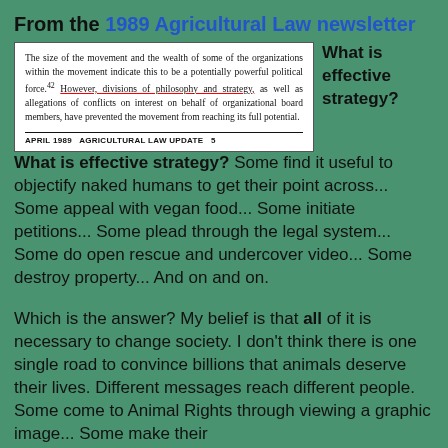From the 1989 Agricultural Law newsletter
[Figure (screenshot): Scanned excerpt from the April 1989 Agricultural Law Update, page 5. Text reads: 'The size of the movement and the wealth of some of the organizations within the movement indicate this to be a potentially powerful political force. However, divisions of philosophy and strategy, as well as allegations of conflicts on interest on behalf of organizational board members, have prevented the movement from reaching its full potential.' The phrase 'However, divisions of philosophy and strategy' is underlined in red. Footer reads: 'APRIL 1989  AGRICULTURAL LAW UPDATE  5']
What is effective strategy?  Some find it useful to objectify naked humans to get their point across... Some appeal with vegan food... Some initiate petitions... Some plead through the legal system... Some do open rescue and undercover video... Some destroy property... And on and on.
Which is the answer?  My belief is that all of it is necessary to change society. I don't think there is one single road to convince billions that animals deserve their lives.  Different messages reach different people.  Some come to Animal Rights through viewing a graphic image... Some make their